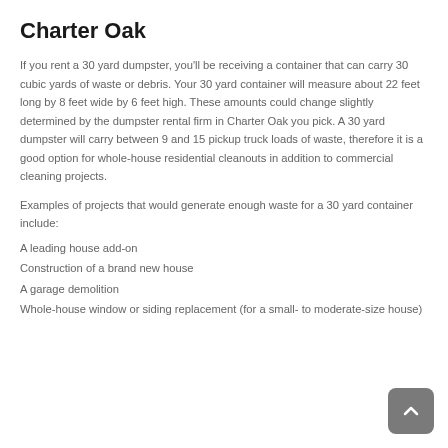Charter Oak
If you rent a 30 yard dumpster, you'll be receiving a container that can carry 30 cubic yards of waste or debris. Your 30 yard container will measure about 22 feet long by 8 feet wide by 6 feet high. These amounts could change slightly determined by the dumpster rental firm in Charter Oak you pick. A 30 yard dumpster will carry between 9 and 15 pickup truck loads of waste, therefore it is a good option for whole-house residential cleanouts in addition to commercial cleaning projects.
Examples of projects that would generate enough waste for a 30 yard container include:
A leading house add-on
Construction of a brand new house
A garage demolition
Whole-house window or siding replacement (for a small- to moderate-size house)